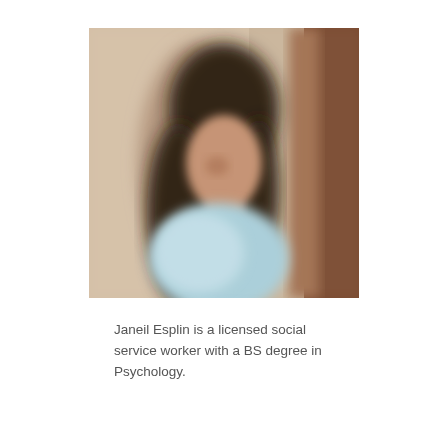[Figure (photo): A blurred portrait photo of a woman with long dark hair wearing a light blue top, standing in front of a beige/tan wall with a dark brown door or post visible on the right.]
Janeil Esplin is a licensed social service worker with a BS degree in Psychology.